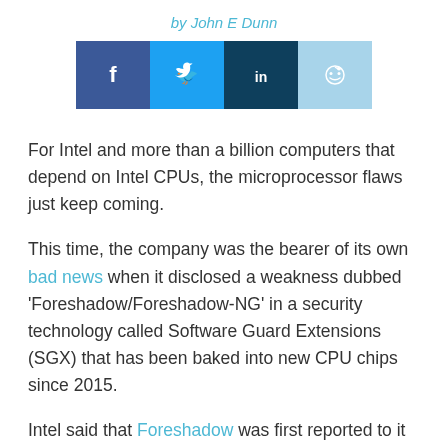by John E Dunn
[Figure (infographic): Social media share buttons: Facebook (dark blue), Twitter (blue), LinkedIn (dark navy), Reddit (light blue)]
For Intel and more than a billion computers that depend on Intel CPUs, the microprocessor flaws just keep coming.
This time, the company was the bearer of its own bad news when it disclosed a weakness dubbed 'Foreshadow/Foreshadow-NG' in a security technology called Software Guard Extensions (SGX) that has been baked into new CPU chips since 2015.
Intel said that Foreshadow was first reported to it by